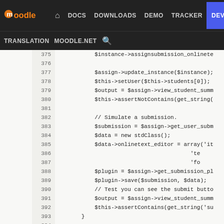Moodle DEV navigation bar with DOCS, DOWNLOADS, DEMO, TRACKER, DEV links and TRANSLATION, MOODLE.NET, search
[Figure (screenshot): Moodle developer site navigation bar showing logo, nav links (DOCS, DOWNLOADS, DEMO, TRACKER, DEV highlighted in blue), and secondary nav (TRANSLATION, MOODLE.NET, search icon)]
Source code viewer showing PHP code lines 375-401 with blame annotations (47f48152, df211804, a5c793c3, a6ce5347) and line numbers. Code includes $assign->update_instance, setUser, view_student_summ, assertNotContains, Simulate a submission comment, $submission = $assign->get_user_subm, $data = new stdClass(), $data->onlinetext_editor = array, $plugin = $assign->get_submission_pl, $plugin->save($submission, $data), Test you can see the submit butto comment, view_student_summ, assertContains, closing brace, public function test_list_participants(), create_extra_users, setUser editingteacher, create_instance, assertEquals self::DEFAULT_ST